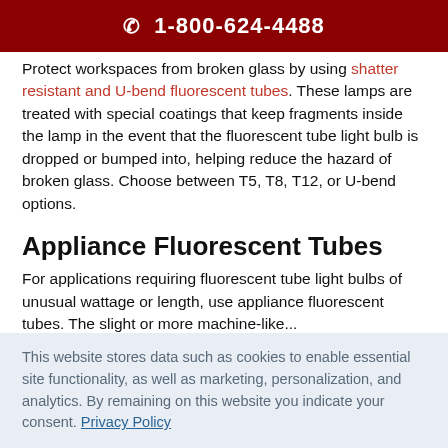1-800-624-4488
Protect workspaces from broken glass by using shatter resistant and U-bend fluorescent tubes. These lamps are treated with special coatings that keep fragments inside the lamp in the event that the fluorescent tube light bulb is dropped or bumped into, helping reduce the hazard of broken glass. Choose between T5, T8, T12, or U-bend options.
Appliance Fluorescent Tubes
For applications requiring fluorescent tube light bulbs of unusual wattage or length, use appliance fluorescent tubes. The slight...
This website stores data such as cookies to enable essential site functionality, as well as marketing, personalization, and analytics. By remaining on this website you indicate your consent. Privacy Policy